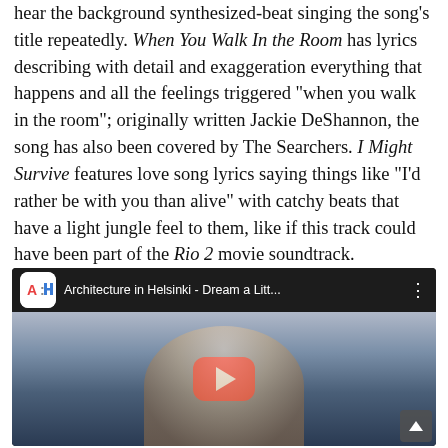hear the background synthesized-beat singing the song's title repeatedly. When You Walk In the Room has lyrics describing with detail and exaggeration everything that happens and all the feelings triggered "when you walk in the room"; originally written Jackie DeShannon, the song has also been covered by The Searchers. I Might Survive features love song lyrics saying things like "I'd rather be with you than alive" with catchy beats that have a light jungle feel to them, like if this track could have been part of the Rio 2 movie soundtrack.
[Figure (screenshot): YouTube video embed showing 'Architecture in Helsinki - Dream a Litt...' with the channel icon (A:H logo), video title bar, and a play button over a thumbnail image of a person.]